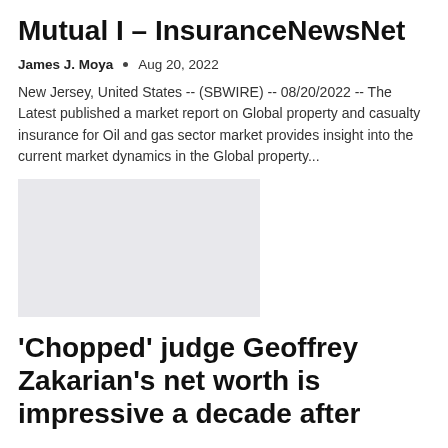Mutual I – InsuranceNewsNet
James J. Moya  •  Aug 20, 2022
New Jersey, United States -- (SBWIRE) -- 08/20/2022 -- The Latest published a market report on Global property and casualty insurance for Oil and gas sector market provides insight into the current market dynamics in the Global property...
[Figure (photo): Gray placeholder image for article thumbnail]
'Chopped' judge Geoffrey Zakarian's net worth is impressive a decade after